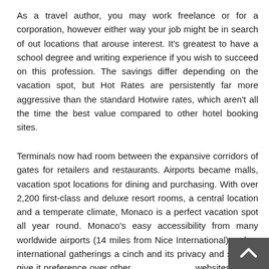As a travel author, you may work freelance or for a corporation, however either way your job might be in search of out locations that arouse interest. It's greatest to have a school degree and writing experience if you wish to succeed on this profession. The savings differ depending on the vacation spot, but Hot Rates are persistently far more aggressive than the standard Hotwire rates, which aren't all the time the best value compared to other hotel booking sites.
Terminals now had room between the expansive corridors of gates for retailers and restaurants. Airports became malls, vacation spot locations for dining and purchasing. With over 2,200 first-class and deluxe resort rooms, a central location and a temperate climate, Monaco is a perfect vacation spot all year round. Monaco's easy accessibility from many worldwide airports (14 miles from Nice International) makes international gatherings a cinch and its privacy and security give it preference over other potential websites. If you wish to discover out extra about NYC,